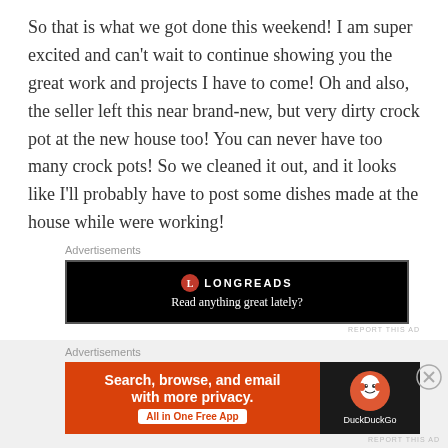So that is what we got done this weekend! I am super excited and can't wait to continue showing you the great work and projects I have to come! Oh and also, the seller left this near brand-new, but very dirty crock pot at the new house too! You can never have too many crock pots! So we cleaned it out, and it looks like I'll probably have to post some dishes made at the house while were working!
[Figure (screenshot): Longreads advertisement banner on black background with text 'Read anything great lately?']
With Love,
[Figure (screenshot): DuckDuckGo advertisement banner with orange background. Text: Search, browse, and email with more privacy. All in One Free App. DuckDuckGo logo on dark background.]